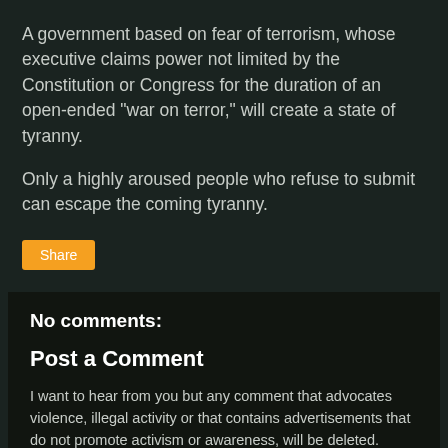A government based on fear of terrorism, whose executive claims power not limited by the Constitution or Congress for the duration of an open-ended "war on terror," will create a state of tyranny.
Only a highly aroused people who refuse to submit can escape the coming tyranny.
Share
No comments:
Post a Comment
I want to hear from you but any comment that advocates violence, illegal activity or that contains advertisements that do not promote activism or awareness, will be deleted.